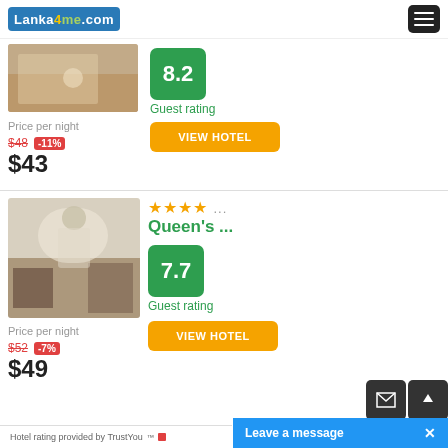Lanka4me.com
[Figure (photo): Hotel room image (partially visible, top card)]
8.2
Guest rating
Price per night
$48 -11% $43
VIEW HOTEL
[Figure (photo): Hotel interior room with ceiling fan, arch doorway, curtains and chairs]
★★★★ ...
Queen's ...
7.7
Guest rating
Price per night
$52 -7% $49
VIEW HOTEL
Hotel rating provided by TrustYou™
Leave a message  ✕